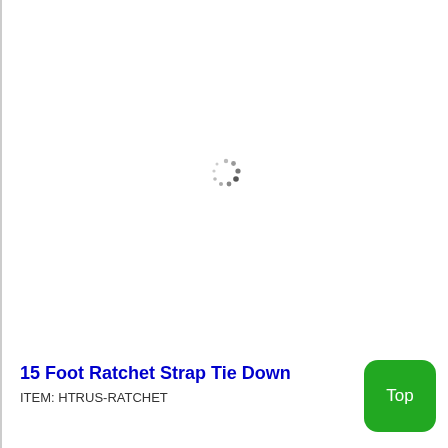[Figure (other): Loading spinner icon (circular dots pattern) centered in the white content area, indicating an image is loading.]
15 Foot Ratchet Strap Tie Down
ITEM: HTRUS-RATCHET